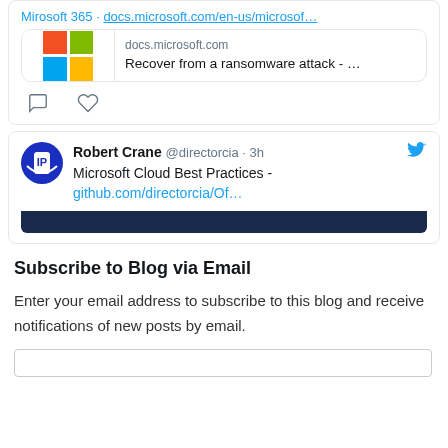[Figure (screenshot): Partial tweet showing Microsoft 365 link to docs.microsoft.com with Microsoft logo link preview card showing 'Recover from a ransomware attack - ...' and tweet action icons (comment, like)]
[Figure (screenshot): Tweet by Robert Crane @directorcia · 3h about Microsoft Cloud Best Practices linking to github.com/directorcia/Of... with Twitter bird icon and dark banner at bottom]
Subscribe to Blog via Email
Enter your email address to subscribe to this blog and receive notifications of new posts by email.